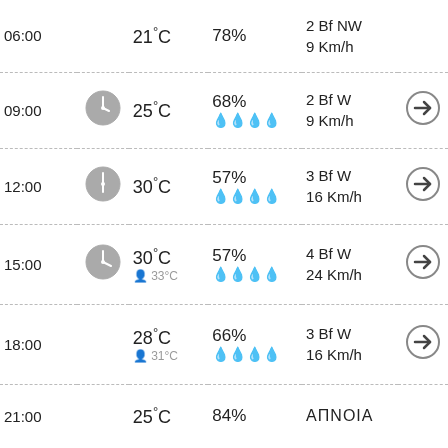| Time | Clock | Temp | Humidity | Wind | Arrow |
| --- | --- | --- | --- | --- | --- |
| 06:00 |  | 21°C | 78% | 2 Bf NW
9 Km/h |  |
| 09:00 | clock | 25°C | 68%
●●●○ | 2 Bf W
9 Km/h | → |
| 12:00 | clock | 30°C | 57%
●●●○ | 3 Bf W
16 Km/h | → |
| 15:00 | clock | 30°C / 33°C | 57%
●●●○ | 4 Bf W
24 Km/h | → |
| 18:00 |  | 28°C / 31°C | 66%
●●●○ | 3 Bf W
16 Km/h | → |
| 21:00 |  | 25°C | 84% | ΑΠΝΟΙΑ |  |